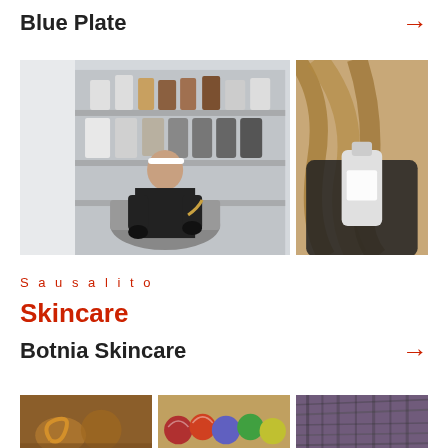Blue Plate
[Figure (photo): Two-panel photo collage: left panel shows a woman in black gloves and headband pouring liquid into a large pot in a workshop with shelves of bottles and containers; right panel shows a close-up of gloved hands holding a bottle.]
Sausalito
Skincare
Botnia Skincare
[Figure (photo): Three-panel photo collage at bottom: left panel shows copper/metallic goods, center panel shows colorful yarn balls, right panel shows textured dried botanical material.]